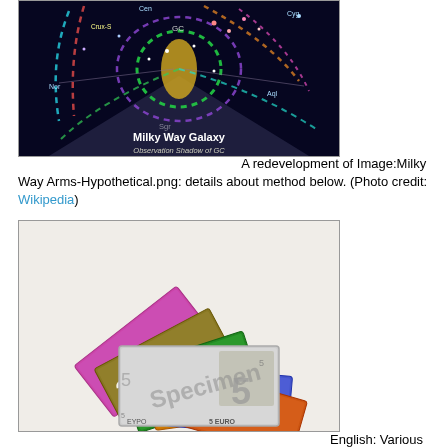[Figure (illustration): Milky Way Galaxy spiral arm diagram with colored dashed lines showing spiral arms, observation shadow of GC marked, with labels for constellation regions (Cen, Crux, Nor, Sgr, Aql, Cyg, GC). Dark blue background with colorful spiral arm indicators.]
A redevelopment of Image:Milky Way Arms-Hypothetical.png: details about method below. (Photo credit: Wikipedia)
[Figure (photo): Fan of Euro banknotes showing 500, 200, 100, 50, 20, 10, and 5 Euro notes spread out. A specimen 5 Euro note is overlaid in the foreground with 'Specimen' watermark text.]
English: Various